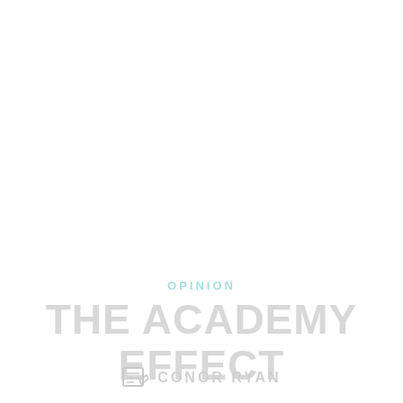OPINION
THE ACADEMY EFFECT
CONOR RYAN